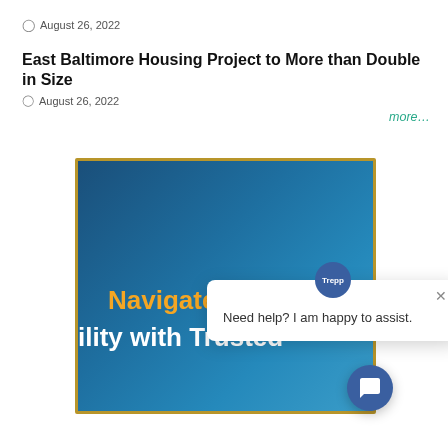August 26, 2022
East Baltimore Housing Project to More than Double in Size
August 26, 2022
more...
[Figure (screenshot): Banner image with dark blue gradient background showing text 'Navigate Market Volatility with Trusted' in white and yellow fonts, with a chat popup overlay from Trepp saying 'Need help? I am happy to assist.' and a chat bubble button.]